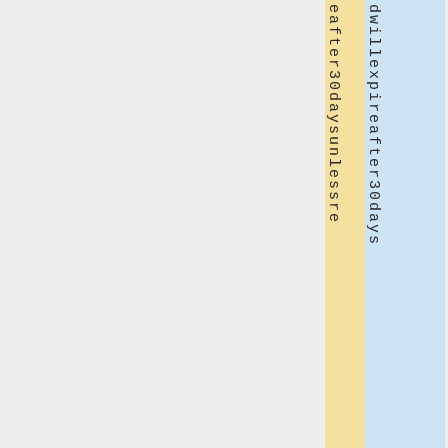eafter30daysunlessre
dwillexpireafter30days